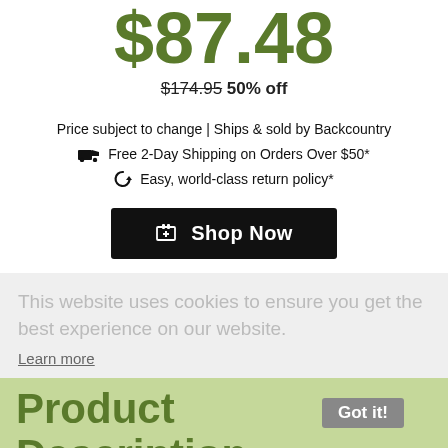$87.48
$174.95 50% off
Price subject to change | Ships & sold by Backcountry
Free 2-Day Shipping on Orders Over $50*
Easy, world-class return policy*
Shop Now
This website uses cookies to ensure you get the best experience on our website.
Learn more
Product Description
Got it!